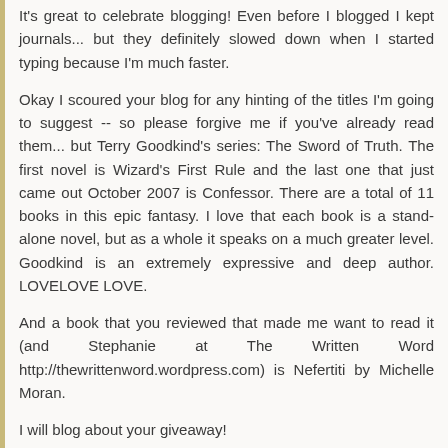It's great to celebrate blogging! Even before I blogged I kept journals... but they definitely slowed down when I started typing because I'm much faster.
Okay I scoured your blog for any hinting of the titles I'm going to suggest -- so please forgive me if you've already read them... but Terry Goodkind's series: The Sword of Truth. The first novel is Wizard's First Rule and the last one that just came out October 2007 is Confessor. There are a total of 11 books in this epic fantasy. I love that each book is a stand-alone novel, but as a whole it speaks on a much greater level. Goodkind is an extremely expressive and deep author. LOVELOVE LOVE.
And a book that you reviewed that made me want to read it (and Stephanie at The Written Word http://thewrittenword.wordpress.com) is Nefertiti by Michelle Moran.
I will blog about your giveaway!
Reply